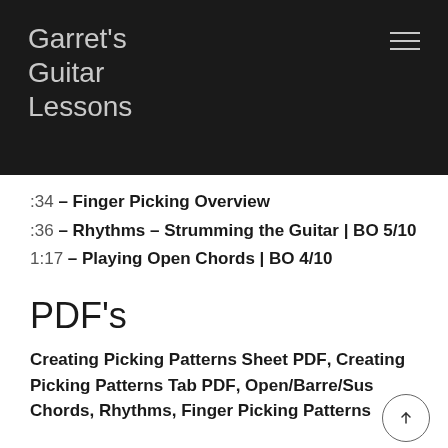Garret's Guitar Lessons
:34 – Finger Picking Overview
:36 – Rhythms – Strumming the Guitar | BO 5/10
1:17 – Playing Open Chords | BO 4/10
PDF's
Creating Picking Patterns Sheet PDF, Creating Picking Patterns Tab PDF, Open/Barre/Sus Chords, Rhythms, Finger Picking Patterns
Play Alongs & Backing Tracks